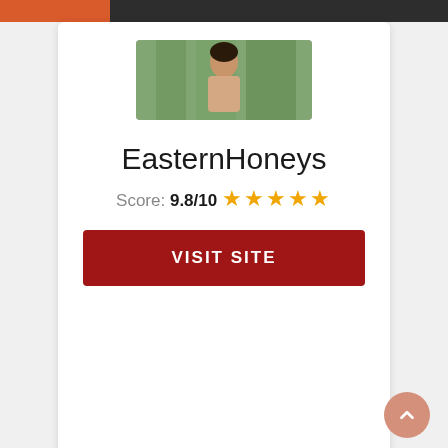[Figure (photo): Photo of a woman with dark hair wearing tropical-style clothing, used as site thumbnail for EasternHoneys]
EasternHoneys
Score: 9.8/10 ★★★★★
VISIT SITE
[Figure (photo): Photo of a woman with white head wrap and orange top, used as site thumbnail for La Date]
La Date
Score: 9.6/10 ★★★★★